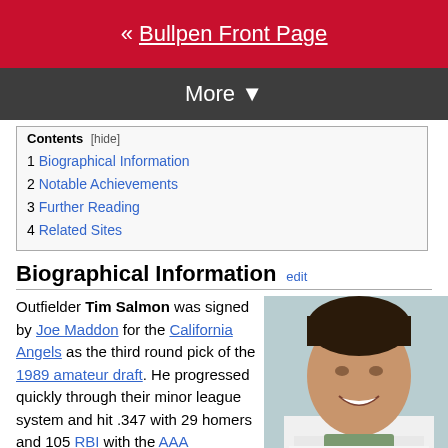« Bullpen Front Page
More ▼
Contents [hide]
1 Biographical Information
2 Notable Achievements
3 Further Reading
4 Related Sites
Biographical Information
Outfielder Tim Salmon was signed by Joe Maddon for the California Angels as the third round pick of the 1989 amateur draft. He progressed quickly through their minor league system and hit .347 with 29 homers and 105 RBI with the AAA Edmonton Trappers in 1992. After a late season call-up to the majors
[Figure (photo): Photo of Tim Salmon smiling, wearing a white Angels baseball jersey]